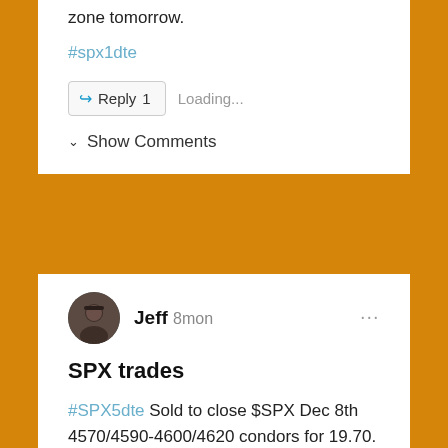zone tomorrow.
#spx1dte
↳ Reply 1   Loading...
∨ Show Comments
Jeff 8mon
SPX trades
#SPX5dte Sold to close $SPX Dec 8th 4570/4590-4600/4620 condors for 19.70. Condors Bought for 18.25 last Thursday, so 1.45 profit.
↳ Reply   Loading...